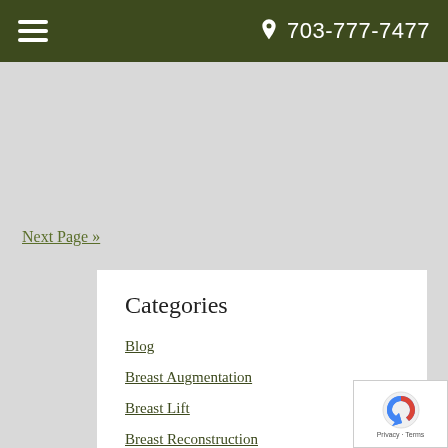703-777-7477
Next Page »
Categories
Blog
Breast Augmentation
Breast Lift
Breast Reconstruction